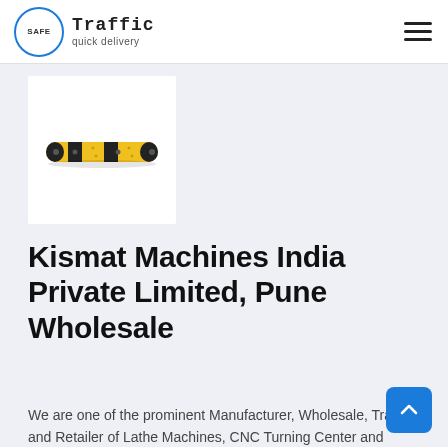Safe Traffic – quick delivery
[Figure (photo): Yellow and black rubber speed bump / road hump product image on white background]
Kismat Machines India Private Limited, Pune Wholesale
We are one of the prominent Manufacturer, Wholesale, Trader and Retailer of Lathe Machines, CNC Turning Center and Milling Machines. These machines offered by us are sourced from reliable vendors of the industry. Our range is at par with